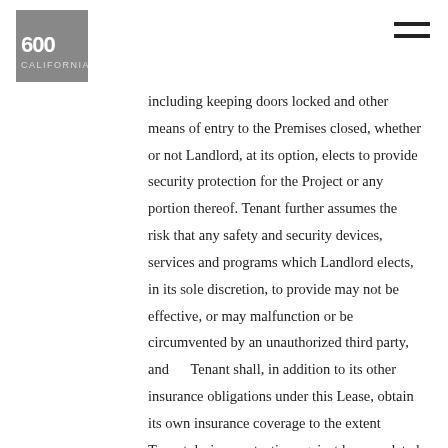600 California
including keeping doors locked and other means of entry to the Premises closed, whether or not Landlord, at its option, elects to provide security protection for the Project or any portion thereof. Tenant further assumes the risk that any safety and security devices, services and programs which Landlord elects, in its sole discretion, to provide may not be effective, or may malfunction or be circumvented by an unauthorized third party, and Tenant shall, in addition to its other insurance obligations under this Lease, obtain its own insurance coverage to the extent Tenant desires protection against losses related to such occurrences. Tenant shall cooperate in any reasonable safety or security program developed by Landlord or required by law.
29. All office equipment of any electrical or mechanical nature shall be placed by Tenant in the Premises in settings approved by